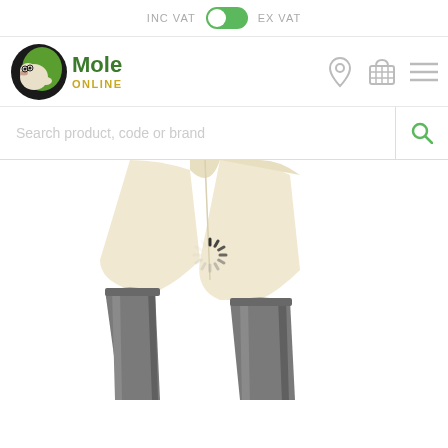INC VAT  EX VAT
[Figure (logo): Mole Online logo with mole illustration in circle, green text 'Mole' and yellow text 'ONLINE']
Search product, code or brand
[Figure (photo): Product photo showing lower body wearing cream/beige riding shorts and tall dark grey equestrian boots, with a loading spinner icon overlay in the center of the image]